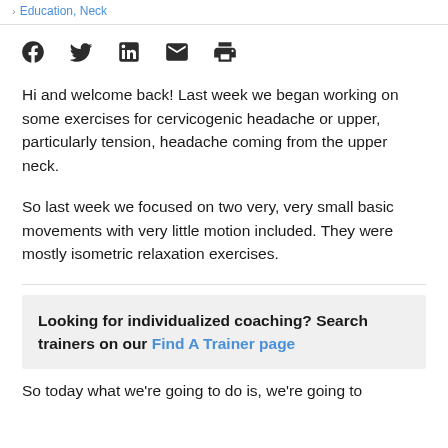Education, Neck
[Figure (other): Social sharing icons: Facebook, Twitter, LinkedIn, Email, Print]
Hi and welcome back! Last week we began working on some exercises for cervicogenic headache or upper, particularly tension, headache coming from the upper neck.
So last week we focused on two very, very small basic movements with very little motion included. They were mostly isometric relaxation exercises.
Looking for individualized coaching? Search trainers on our Find A Trainer page
So today what we're going to do is, we're going to